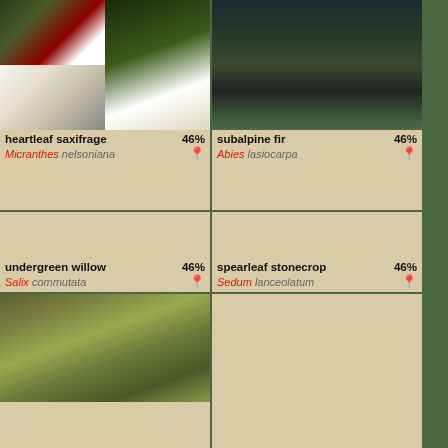[Figure (photo): Heartleaf saxifrage composite: top-left shows red-tipped flower buds on stems; bottom-left shows white flower with petals; right panel shows plant with white clustered flowers and green lobed leaves]
heartleaf saxifrage 46%
Micranthes nelsoniana
[Figure (photo): Subalpine fir: dark brown/black seed cones clustered among green fir needles]
subalpine fir 46%
Abies lasiocarpa
[Figure (photo): Undergreen willow: tan/beige placeholder (image not loaded)]
undergreen willow 46%
Salix commutata
[Figure (photo): Spearleaf stonecrop: tan/beige placeholder (image not loaded)]
spearleaf stonecrop 46%
Sedum lanceolatum
[Figure (photo): Bottom left: green feathery fern-like plant foliage against brown ground]
[Figure (photo): Bottom right: tan/beige placeholder (image not loaded)]